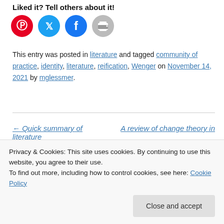Liked it? Tell others about it!
[Figure (other): Four social sharing icon buttons: Pinterest (red circle), Twitter (blue circle), Facebook (blue circle), Print (grey circle)]
This entry was posted in literature and tagged community of practice, identity, literature, reification, Wenger on November 14, 2021 by mglessmer.
← Quick summary of literature
A review of change theory in
Privacy & Cookies: This site uses cookies. By continuing to use this website, you agree to their use.
To find out more, including how to control cookies, see here: Cookie Policy
Close and accept